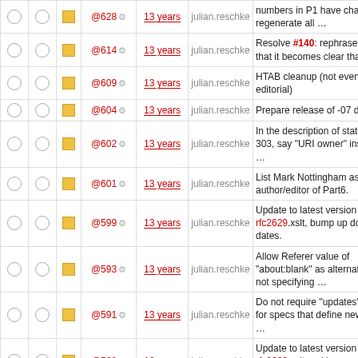|  |  |  | Rev | Age | Author | Message |
| --- | --- | --- | --- | --- | --- | --- |
| ○ | ○ | □ | @628 ⚙ | 13 years | julian.reschke | numbers in P1 have changed, regenerate all … |
| ○ | ○ | □ | @614 ⚙ | 13 years | julian.reschke | Resolve #140: rephrase note so that it becomes clear that the … |
| ○ | ○ | □ | @609 ⚙ | 13 years | julian.reschke | HTAB cleanup (not even editorial) |
| ○ | ○ | □ | @604 ⚙ | 13 years | julian.reschke | Prepare release of -07 drafts. |
| ○ | ○ | □ | @602 ⚙ | 13 years | julian.reschke | In the description of status code 303, say "URI owner" instead of … |
| ○ | ○ | □ | @601 ⚙ | 13 years | julian.reschke | List Mark Nottingham as author/editor of Part6. |
| ○ | ○ | □ | @599 ⚙ | 13 years | julian.reschke | Update to latest version of rfc2629.xslt, bump up document dates. |
| ○ | ○ | □ | @593 ⚙ | 13 years | julian.reschke | Allow Referer value of "about:blank" as alternative to not specifying … |
| ○ | ○ | □ | @591 ⚙ | 13 years | julian.reschke | Do not require "updates" relation for specs that define new status … |
| ○ | ○ | □ | @588 ⚙ | 13 years | julian.reschke | Update to latest version of rfc2629.xslt and bump up document dates. |
| ○ | ○ | □ | @581 ⚙ | 13 years | julian.reschke | editorial: use BAP's mode that adds comments for productions that … |
| ○ | ○ | □ | @580 ⚙ | 13 years | julian.reschke | re-organize section on HTTP-date including ABNF |